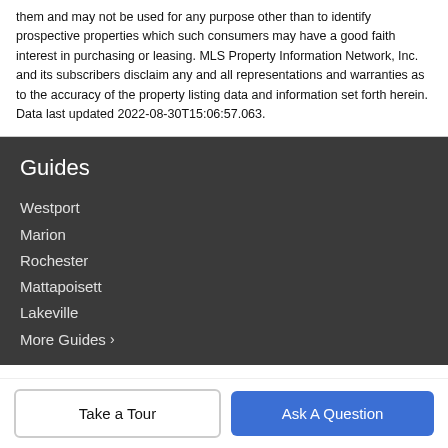them and may not be used for any purpose other than to identify prospective properties which such consumers may have a good faith interest in purchasing or leasing. MLS Property Information Network, Inc. and its subscribers disclaim any and all representations and warranties as to the accuracy of the property listing data and information set forth herein. Data last updated 2022-08-30T15:06:57.063.
Guides
Westport
Marion
Rochester
Mattapoisett
Lakeville
More Guides ›
Take a Tour
Ask A Question